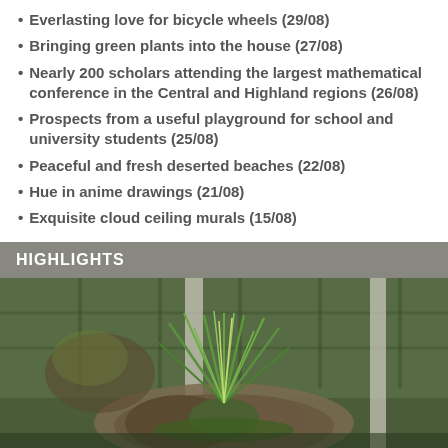Everlasting love for bicycle wheels (29/08)
Bringing green plants into the house (27/08)
Nearly 200 scholars attending the largest mathematical conference in the Central and Highland regions (26/08)
Prospects from a useful playground for school and university students (25/08)
Peaceful and fresh deserted beaches (22/08)
Hue in anime drawings (21/08)
Exquisite cloud ceiling murals (15/08)
HIGHLIGHTS
[Figure (photo): Close-up photo of green grass-like plant growing among rocks and moss, with blurred background showing a green wall and structural columns]